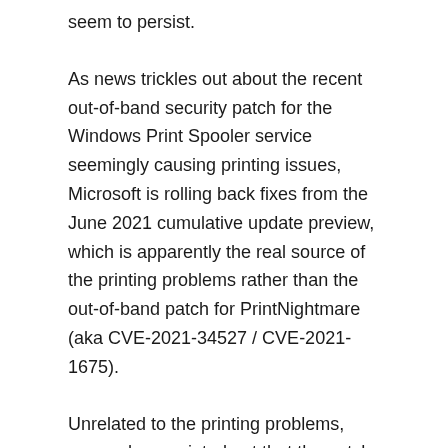seem to persist.
As news trickles out about the recent out-of-band security patch for the Windows Print Spooler service seemingly causing printing issues, Microsoft is rolling back fixes from the June 2021 cumulative update preview, which is apparently the real source of the printing problems rather than the out-of-band patch for PrintNightmare (aka CVE-2021-34527 / CVE-2021-1675).
Unrelated to the printing problems, researchers pointed out that the patch, which aims to address the PrintNightmare vulnerability, fails to do the job fully, although it limits the range of possible attacks.
While Microsoft feels confident that the update is working as